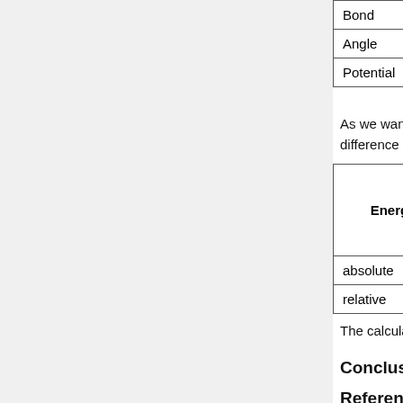|  |  |  |  |  |
| --- | --- | --- | --- | --- |
| Bond | 2775.97 | 2000 | 6761.45 | -11375 |
| Angle | 3682.24 | 300 | 670.885 | -1625.2 |
| Potential | 5.96e+06 | 5.0e+06 | 8.02e+07 | -3.61e+ |
As we want to compare the Gromacs energies with the other tools, we calculate the ratio of difference considering the potential energy:
| Energy | wildtype energy | total energy of mutated protein | difference |
| --- | --- | --- | --- |
| absolute | 2.67001e+07 | 5.96e+06 | -20740100 |
| relative | 100% | 22% | 78% |
The calculated energy for the mutated structure is much smaller than for the wildtype structure.
Conclusion
References